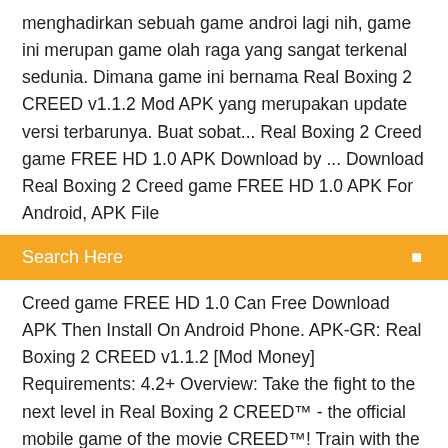menghadirkan sebuah game androi lagi nih, game ini merupan game olah raga yang sangat terkenal sedunia. Dimana game ini bernama Real Boxing 2 CREED v1.1.2 Mod APK yang merupakan update versi terbarunya. Buat sobat... Real Boxing 2 Creed game FREE HD 1.0 APK Download by ... Download Real Boxing 2 Creed game FREE HD 1.0 APK For Android, APK File
Search Here
Creed game FREE HD 1.0 Can Free Download APK Then Install On Android Phone. APK-GR: Real Boxing 2 CREED v1.1.2 [Mod Money] Requirements: 4.2+ Overview: Take the fight to the next level in Real Boxing 2 CREED™ - the official mobile game of the movie CREED™! Train with the legendary Rocky Balboa and become the World Champion in the sequel to the award winning Real Boxing™. APK MANIA™ Full » Real Boxing 2 CREED v1.1.2 [MOD] APK Take the fight to the next level in Real Boxing 2 CREED™ Real Boxing 2 CREED the official mobile game of the movie CREED™! Train with the legendary Rocky Balboa